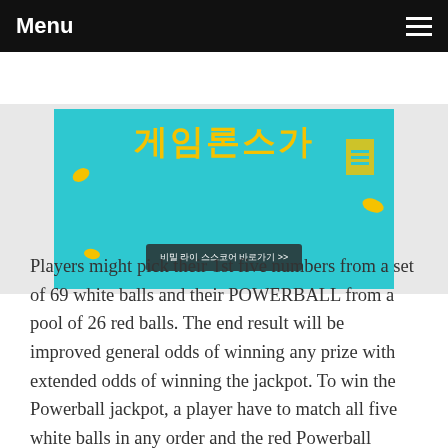Menu
[Figure (illustration): Korean promotional banner with teal background, yellow Korean text, small yellow coin/capsule decorations, and a dark button with Korean text '비밀 라이 스스코어 바로가기 >>']
Players might pick their 1st five numbers from a set of 69 white balls and their POWERBALL from a pool of 26 red balls. The end result will be improved general odds of winning any prize with extended odds of winning the jackpot. To win the Powerball jackpot, a player have to match all five white balls in any order and the red Powerball quantity. The odds of picking the right Powerball grand prize numbers are one in 292,201,338, which doesn't modify even if additional players obtain tickets when the jackpot is massive. Though no a single took house the significant prize on Wednesday, the Powerball drawing was nevertheless